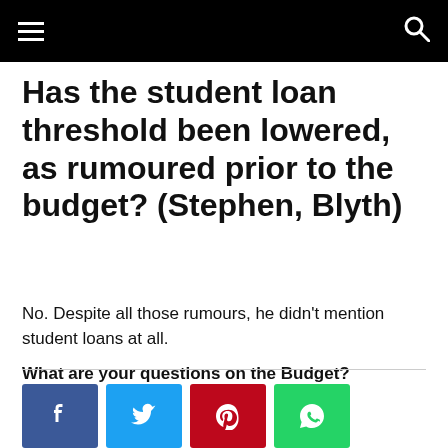Has the student loan threshold been lowered, as rumoured prior to the budget? (Stephen, Blyth)
Has the student loan threshold been lowered, as rumoured prior to the budget? (Stephen, Blyth)
No. Despite all those rumours, he didn't mention student loans at all.
What are your questions on the Budget?
[Figure (other): Social sharing buttons: Facebook (blue), Twitter (cyan), Pinterest (red), WhatsApp (green)]